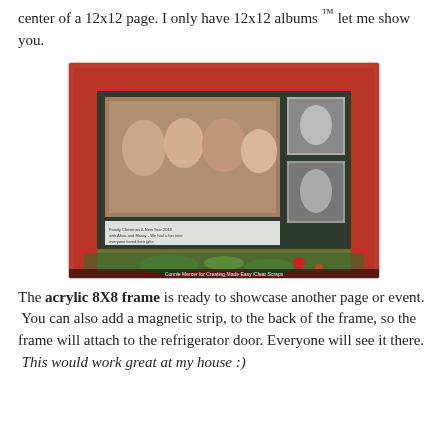center of a 12x12 page. I only have 12x12 albums ™ let me show you.
[Figure (photo): A Christmas-themed scrapbook layout on a 12x12 page with red snowflake patterned border, dark mittens-patterned background, family photos including a group photo of four people and two smaller black and white photos, with journaling and embellishments. Caption at bottom reads: Connie Mercer for Creating Made Easy /Clear Scraps]
The acrylic 8X8 frame is ready to showcase another page or event. You can also add a magnetic strip, to the back of the frame, so the frame will attach to the refrigerator door. Everyone will see it there. This would work great at my house :)